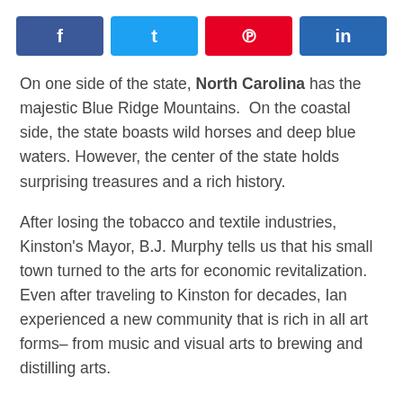[Figure (other): Social share buttons row: Facebook (blue), Twitter (light blue), Pinterest (red), LinkedIn (dark blue)]
On one side of the state, North Carolina has the majestic Blue Ridge Mountains.  On the coastal side, the state boasts wild horses and deep blue waters. However, the center of the state holds surprising treasures and a rich history.
After losing the tobacco and textile industries, Kinston's Mayor, B.J. Murphy tells us that his small town turned to the arts for economic revitalization. Even after traveling to Kinston for decades, Ian experienced a new community that is rich in all art forms– from music and visual arts to brewing and distilling arts.
North Carolina has a rich musical heritage. Darrell